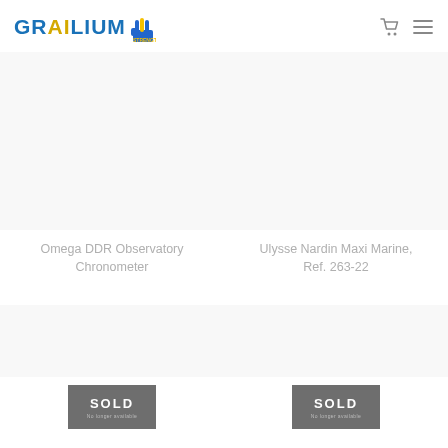GRAILIUM
Omega DDR Observatory Chronometer
Ulysse Nardin Maxi Marine, Ref. 263-22
[Figure (other): SOLD - No longer available badge, grey background]
[Figure (other): SOLD - No longer available badge, grey background]